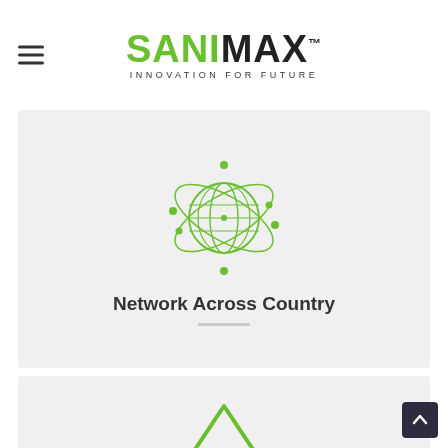[Figure (logo): Sanimax logo with green SANI and black MAX text, tagline INNOVATION FOR FUTURE below]
[Figure (illustration): Green globe/network icon with orbital rings and nodes, centered in a light gray card]
Network Across Country
[Figure (illustration): Partial green chevron/upward arrow icon visible at bottom of second gray card]